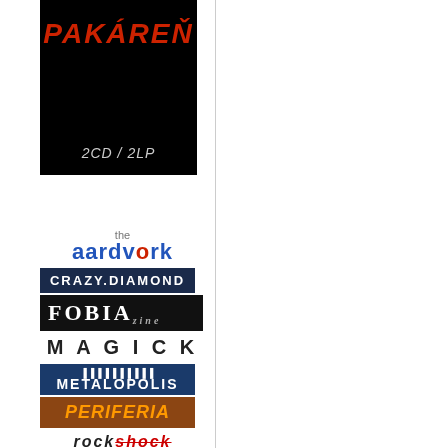[Figure (illustration): Black album cover with red stylized text 'PAKÁREŇ' and white italic text '2CD / 2LP' at bottom]
[Figure (logo): The Aardvark logo in blue text]
[Figure (logo): Crazy Diamond logo in white text on dark blue background]
[Figure (logo): FOBIA zine logo in white text on black background]
[Figure (logo): MAGICK logo in black hand-drawn style text]
[Figure (logo): METALOPOLIS logo in white text on dark blue background with city skyline]
[Figure (logo): PERIFERIA logo in orange text on brown background]
[Figure (logo): rockshock logo in italic black text with strikethrough]